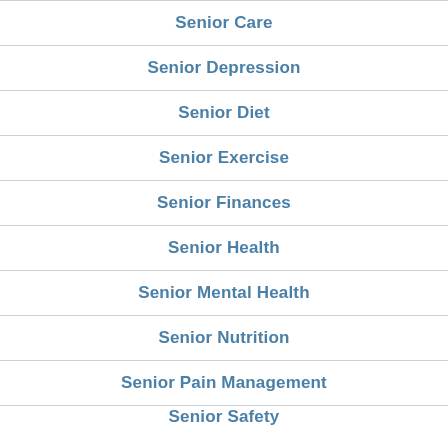Senior Care
Senior Depression
Senior Diet
Senior Exercise
Senior Finances
Senior Health
Senior Mental Health
Senior Nutrition
Senior Pain Management
Senior Safety